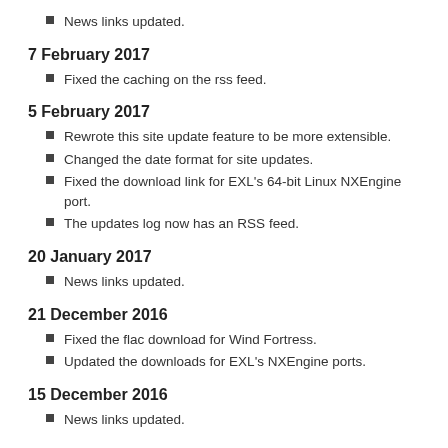News links updated.
7 February 2017
Fixed the caching on the rss feed.
5 February 2017
Rewrote this site update feature to be more extensible.
Changed the date format for site updates.
Fixed the download link for EXL's 64-bit Linux NXEngine port.
The updates log now has an RSS feed.
20 January 2017
News links updated.
21 December 2016
Fixed the flac download for Wind Fortress.
Updated the downloads for EXL's NXEngine ports.
15 December 2016
News links updated.